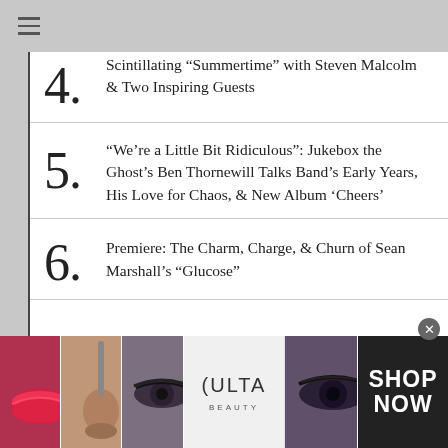4. Scintillating “Summertime” with Steven Malcolm & Two Inspiring Guests
5. “We’re a Little Bit Ridiculous”: Jukebox the Ghost’s Ben Thornewill Talks Band’s Early Years, His Love for Chaos, & New Album ‘Cheers’
6. Premiere: The Charm, Charge, & Churn of Sean Marshall’s “Glucose”
[Figure (advertisement): Ulta Beauty advertisement banner with makeup imagery (lips, brush, eyes) and SHOP NOW call to action]